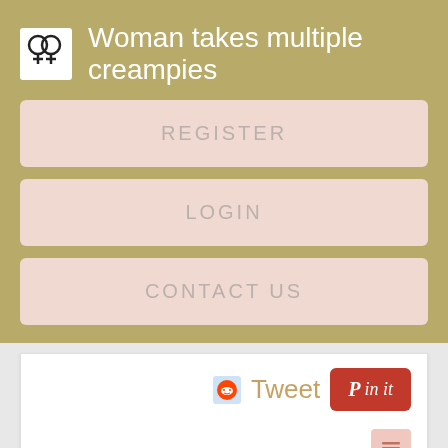Woman takes multiple creampies
REGISTER
LOGIN
CONTACT US
[Figure (screenshot): Social sharing bar with Reddit icon, Tweet text in gold, Pinterest Pin it button in red, and a list/comment icon below]
Register NOW for Instant Access
Register NOW for Instant Access